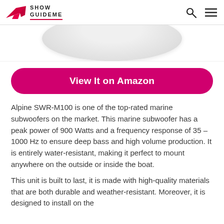Show GuideMe
[Figure (photo): Partial bottom view of a white circular marine subwoofer product shot on white background]
View It on Amazon
Alpine SWR-M100 is one of the top-rated marine subwoofers on the market. This marine subwoofer has a peak power of 900 Watts and a frequency response of 35 – 1000 Hz to ensure deep bass and high volume production. It is entirely water-resistant, making it perfect to mount anywhere on the outside or inside the boat.
This unit is built to last, it is made with high-quality materials that are both durable and weather-resistant. Moreover, it is designed to install on the